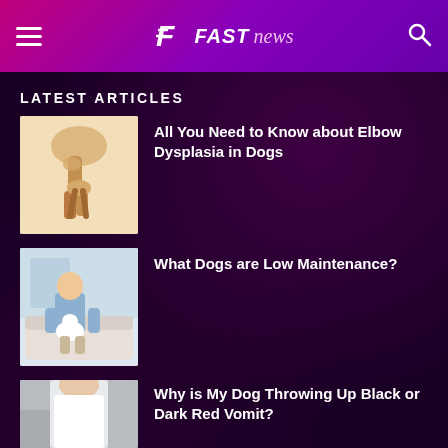FAST news
LATEST ARTICLES
[Figure (photo): Anatomical illustration of a dog elbow joint showing bone structure]
All You Need to Know about Elbow Dysplasia in Dogs
[Figure (photo): Elderly man sitting on a couch holding a small white dog]
What Dogs are Low Maintenance?
[Figure (photo): Person in white clothing, partially visible at bottom of page]
Why is My Dog Throwing Up Black or Dark Red Vomit?